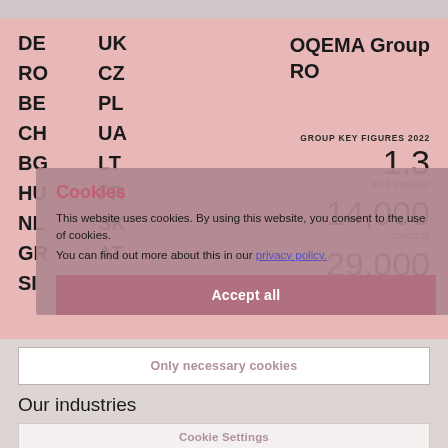DE RO BE CH BG HU NL GR SI / UK CZ PL UA LT FR SK AT / OQEMA Group RO
GROUP KEY FIGURES 2022
1.3 bn € turnover
14,000 products
29,000 clients
Cookies
This website uses cookies. By using this website, you consent to the use of cookies.
You can find out more about this in our privacy policy.
Accept all
Only necessary cookies
Our industries
Cookie Settings
TECHNICAL APPLICATIONS →